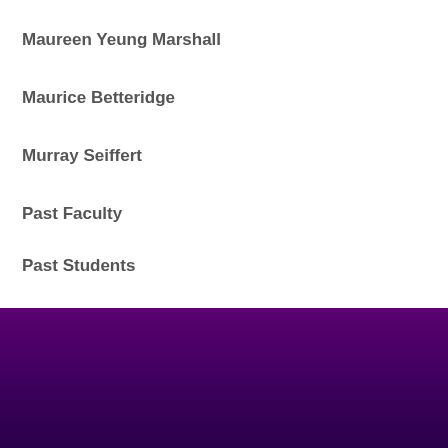Maureen Yeung Marshall
Maurice Betteridge
Murray Seiffert
Past Faculty
Past Students
Valerie Ting
Visiting Lecturers
[Figure (illustration): Purple/violet gradient decorative footer band at the bottom of the page]